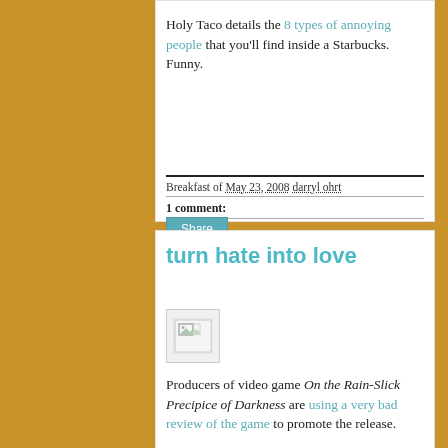Holy Taco details the 8 types of annoying people that you'll find inside a Starbucks. Funny.
Breakfast of May 23, 2008 darryl ohrt
1 comment:
Share
turn hate into love
[Figure (photo): Small broken image placeholder icon]
Producers of video game On the Rain-Slick Precipice of Darkness are using a very bad review of the game to promote the release.